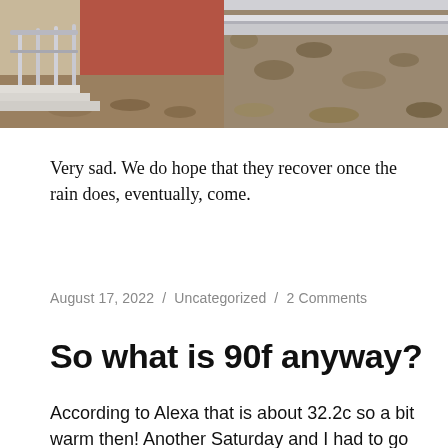[Figure (photo): Two side-by-side photos: left shows metal railings/steps outside a brick building with dry leaves on the ground; right shows railway tracks with dry leaves/gravel.]
Very sad. We do hope that they recover once the rain does, eventually, come.
August 17, 2022 / Uncategorized / 2 Comments
So what is 90f anyway?
According to Alexa that is about 32.2c so a bit warm then! Another Saturday and I had to go